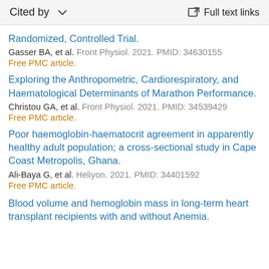Cited by   ∨   Full text links
Randomized, Controlled Trial.
Gasser BA, et al. Front Physiol. 2021. PMID: 34630155
Free PMC article.
Exploring the Anthropometric, Cardiorespiratory, and Haematological Determinants of Marathon Performance.
Christou GA, et al. Front Physiol. 2021. PMID: 34539429
Free PMC article.
Poor haemoglobin-haematocrit agreement in apparently healthy adult population; a cross-sectional study in Cape Coast Metropolis, Ghana.
Ali-Baya G, et al. Heliyon. 2021. PMID: 34401592
Free PMC article.
Blood volume and hemoglobin mass in long-term heart transplant recipients with and without Anemia.